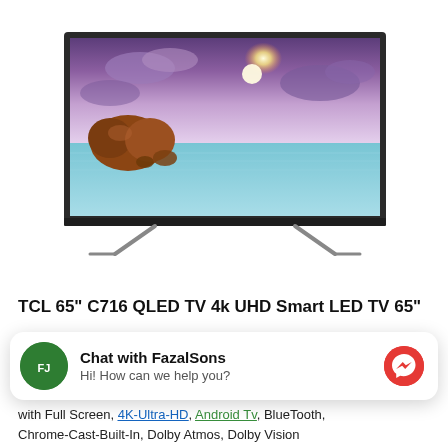[Figure (photo): TCL QLED TV product image showing a flat-screen television with thin bezels displaying a scenic landscape with blue water, rocks, and dramatic purple/pink sky with sunlight, mounted on two V-shaped feet stands]
TCL 65" C716 QLED TV 4k UHD Smart LED TV 65"
[Figure (screenshot): Chat widget overlay: green circular avatar with FazalSons logo, bold text 'Chat with FazalSons', subtitle 'Hi! How can we help you?', and red circular Facebook Messenger icon on the right]
with Full Screen, 4K-Ultra-HD, Android Tv, BlueTooth, Chrome-Cast-Built-In, Dolby Atmos, Dolby Vision